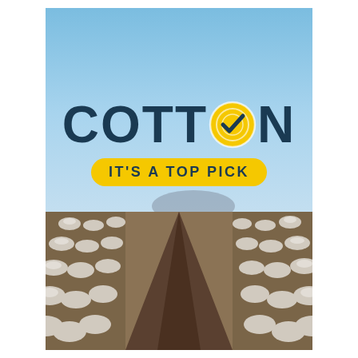[Figure (photo): Cotton field poster with blue sky, distant mountain silhouette, and rows of white cotton plants in the foreground. Overlay shows the COTTON IT'S A TOP PICK logo/branding with bold dark navy text and a yellow pill-shaped tagline banner.]